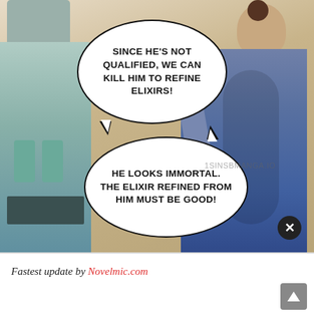[Figure (illustration): Manga panel showing two figures in traditional Asian robes — one on the left in light teal/green robe, one on the right in dark gray/blue robe facing away — with two speech bubbles containing dialogue about killing someone to refine elixirs.]
SINCE HE'S NOT QUALIFIED, WE CAN KILL HIM TO REFINE ELIXIRS!
HE LOOKS IMMORTAL. THE ELIXIR REFINED FROM HIM MUST BE GOOD!
Fastest update by Novelmic.com